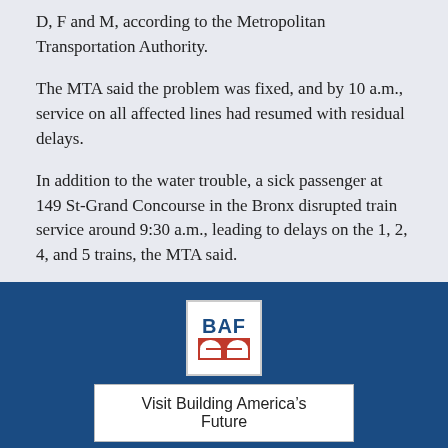D, F and M, according to the Metropolitan Transportation Authority.
The MTA said the problem was fixed, and by 10 a.m., service on all affected lines had resumed with residual delays.
In addition to the water trouble, a sick passenger at 149 St-Grand Concourse in the Bronx disrupted train service around 9:30 a.m., leading to delays on the 1, 2, 4, and 5 trains, the MTA said.
Normal service on the 1, 2 and 5 trains resumed by 10:30 a.m., with the 4 train running with some delays.
[Figure (logo): BAF (Building America's Future) logo — white square with blue BAF text and red arch/bridge icon below]
Visit Building America's Future
©2022 Building America's Future Educational Fund All Rights